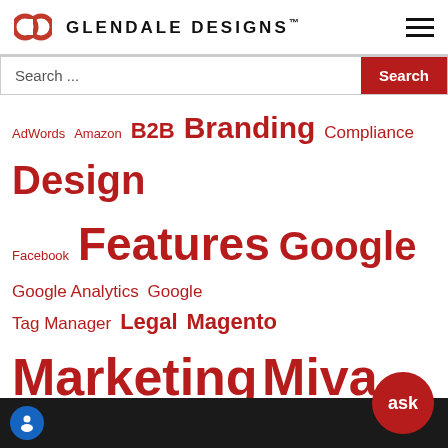Glendale Designs™
Search ...
AdWords Amazon B2B Branding Compliance Design Facebook Features Google Google Analytics Google Tag Manager Legal Magento Marketing Miva Miva 10 Miva Customization Miva Tutorial Miva Update PayPal Product Feeds Remarketing SEO Services Shopify Plus Social Marketing Square SSL TaxJar Tips & Tricks Tutorial Usability Video Tutorial WordPress
ask